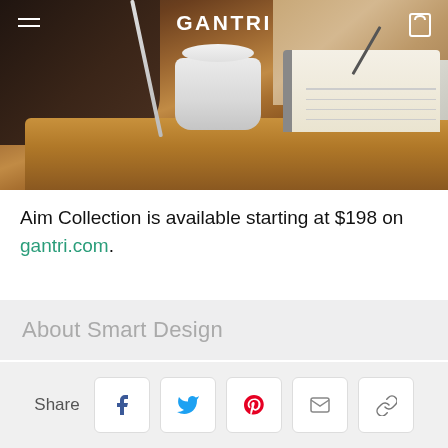[Figure (photo): Photo of a Gantri Aim Collection lamp on a wooden desk next to a person writing in a notebook. The Gantri logo and navigation icons are overlaid at the top.]
Aim Collection is available starting at $198 on gantri.com.
About Smart Design
Share